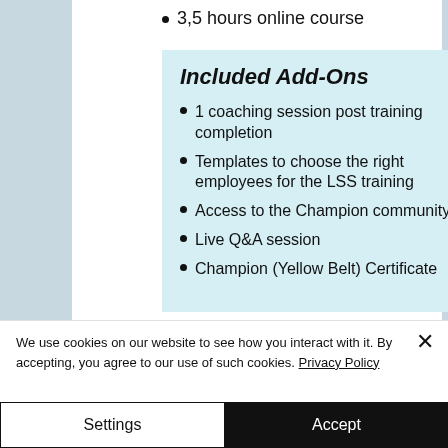3,5 hours online course
Included Add-Ons
1 coaching session post training completion
Templates to choose the right employees for the LSS training
Access to the Champion community
Live Q&A session
Champion (Yellow Belt) Certificate
We use cookies on our website to see how you interact with it. By accepting, you agree to our use of such cookies. Privacy Policy
Settings
Accept